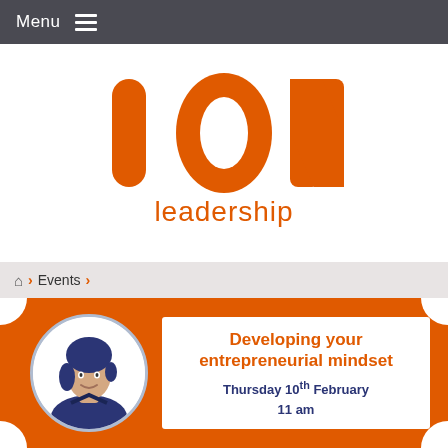Menu
[Figure (logo): ION leadership logo in orange with large bold 'ION' text and 'leadership' beneath]
⌂ › Events ›
[Figure (illustration): Event card with orange background, decorative corner scallops, circular speaker portrait illustration in navy/white, and white text box reading 'Developing your entrepreneurial mindset' with date 'Thursday 10th February 11 am']
Developing your entrepreneurial mindset
Thursday 10th February
11 am